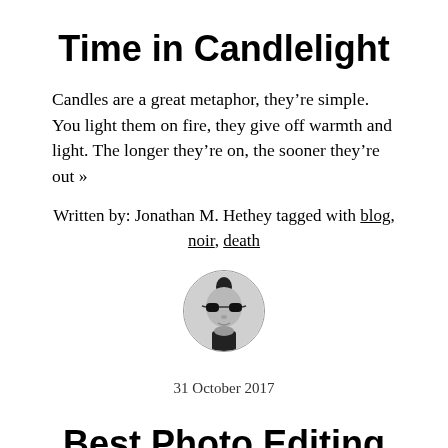Time in Candlelight
Candles are a great metaphor, they’re simple. You light them on fire, they give off warmth and light. The longer they’re on, the sooner they’re out »
Written by: Jonathan M. Hethey tagged with blog, noir, death
[Figure (photo): Circular avatar photo of a person wearing sunglasses with a mohawk hairstyle, shown in black and white, inside a circular border.]
31 October 2017
Best Photo Editing